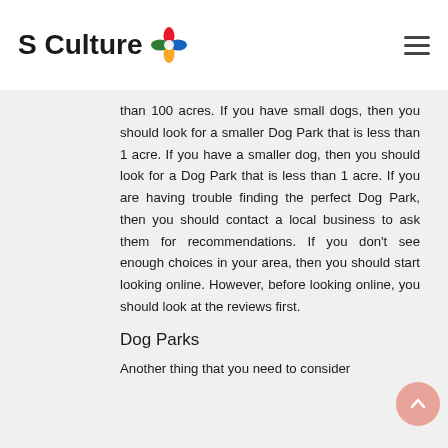S Culture
than 100 acres. If you have small dogs, then you should look for a smaller Dog Park that is less than 1 acre. If you have a smaller dog, then you should look for a Dog Park that is less than 1 acre. If you are having trouble finding the perfect Dog Park, then you should contact a local business to ask them for recommendations. If you don't see enough choices in your area, then you should start looking online. However, before looking online, you should look at the reviews first.
Dog Parks
Another thing that you need to consider